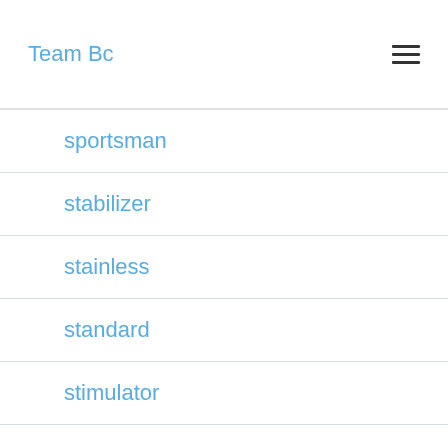Team Bc
sportsman
stabilizer
stainless
standard
stimulator
stoneware
sunflower
tanzanite